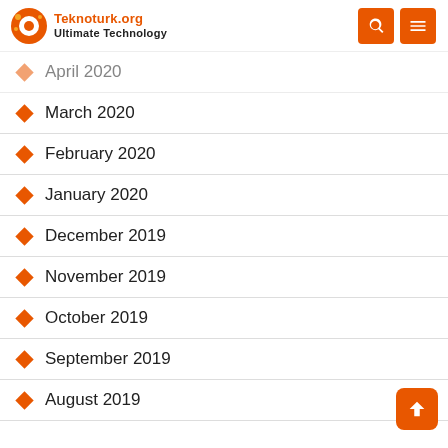Teknoturk.org Ultimate Technology
April 2020
March 2020
February 2020
January 2020
December 2019
November 2019
October 2019
September 2019
August 2019